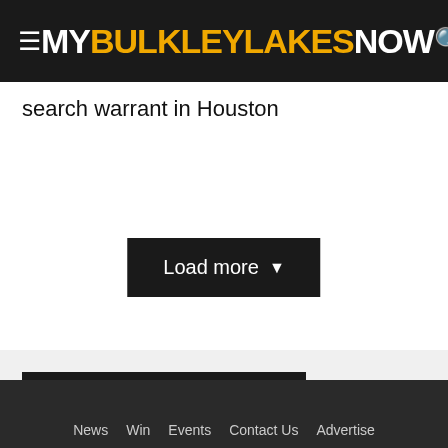MY BULKLEY LAKES NOW
search warrant in Houston
Load more ▾
YOU MAY ALSO LIKE
News   Win   Events   Contact Us   Advertise